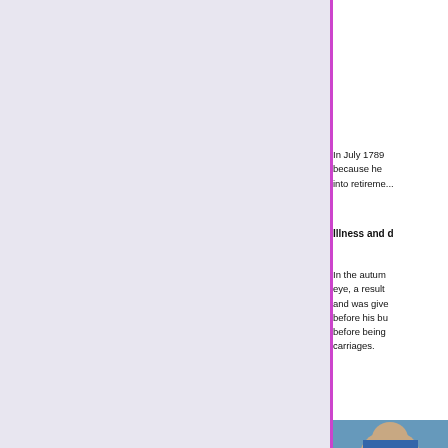[Figure (other): Light lavender/purple background panel on the left side of the page]
In July 1789 because he into retirement
Illness and d
In the autumn eye, a result and was give before his bu before being carriages.
[Figure (photo): Partial photo of a person visible at the bottom right corner]